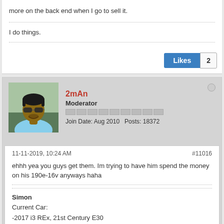more on the back end when I go to sell it.
I do things.
Likes 2
2mAn
Moderator
Join Date: Aug 2010   Posts: 18372
11-11-2019, 10:24 AM
#11016
ehhh yea you guys get them. Im trying to have him spend the money on his 190e-16v anyways haha
Simon
Current Car:
-2017 i3 REx, 21st Century E30
-1975 Alfa Romeo Giulia Nuova Super 1300, the never-ending name & project
[Figure (photo): Photo of a car, colorful, appears to be a racing or modified car]